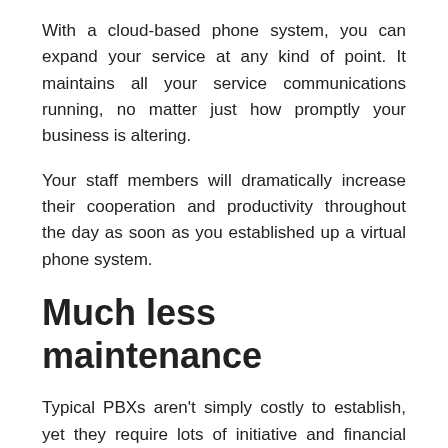With a cloud-based phone system, you can expand your service at any kind of point. It maintains all your service communications running, no matter just how promptly your business is altering.
Your staff members will dramatically increase their cooperation and productivity throughout the day as soon as you established up a virtual phone system.
Much less maintenance
Typical PBXs aren't simply costly to establish, yet they require lots of initiative and financial investment to maintain.
Legacy phone systems need at the very least several people dedicated to caring for it routinely. That problem either falls on your busy IT personnel or requires you to work with outdoors professionals. Fixings and also malfunctions can make this a lot